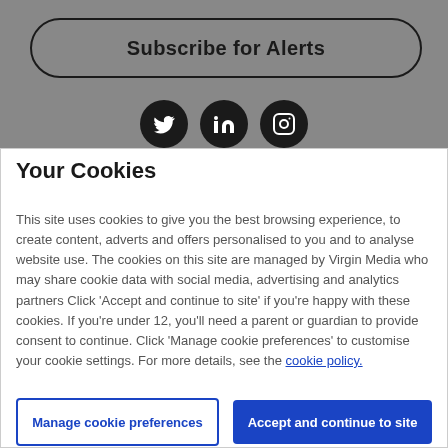Subscribe for Alerts
[Figure (illustration): Social media icons: Twitter, LinkedIn, Instagram — dark circular buttons on grey background]
Your Cookies
This site uses cookies to give you the best browsing experience, to create content, adverts and offers personalised to you and to analyse website use. The cookies on this site are managed by Virgin Media who may share cookie data with social media, advertising and analytics partners Click 'Accept and continue to site' if you're happy with these cookies. If you're under 12, you'll need a parent or guardian to provide consent to continue. Click 'Manage cookie preferences' to customise your cookie settings. For more details, see the cookie policy.
Manage cookie preferences
Accept and continue to site